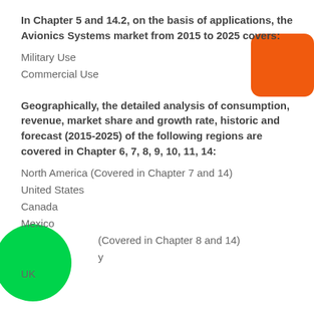In Chapter 5 and 14.2, on the basis of applications, the Avionics Systems market from 2015 to 2025 covers:
Military Use
Commercial Use
Geographically, the detailed analysis of consumption, revenue, market share and growth rate, historic and forecast (2015-2025) of the following regions are covered in Chapter 6, 7, 8, 9, 10, 11, 14:
North America (Covered in Chapter 7 and 14)
United States
Canada
Mexico
(Covered in Chapter 8 and 14)
Germany
UK